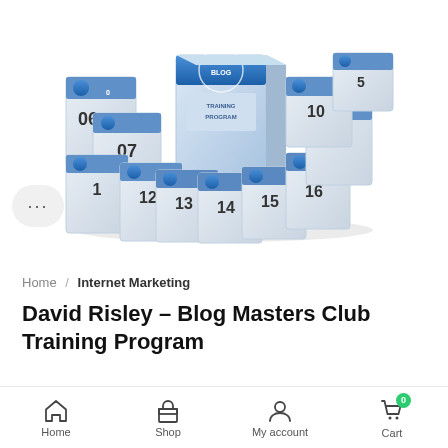[Figure (illustration): 3D rendered collection of blog training program module boxes numbered 06-16 with a central box labeled BLOG TRAINING PROGRAM, blue and silver color scheme]
Home / Internet Marketing
David Risley – Blog Masters Club Training Program
$495.00 $63.00
Home  Shop  My account  Cart